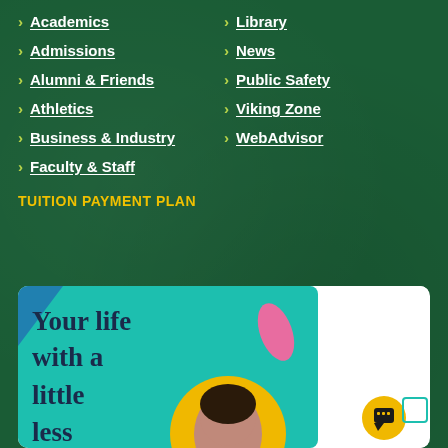Academics
Library
Admissions
News
Alumni & Friends
Public Safety
Athletics
Viking Zone
Business & Industry
WebAdvisor
Faculty & Staff
TUITION PAYMENT PLAN
[Figure (illustration): Promotional banner with teal background showing text 'Your life with a little less' in dark serif font, a pink decorative shape, a yellow circle with a person's portrait, and a blue corner triangle decoration.]